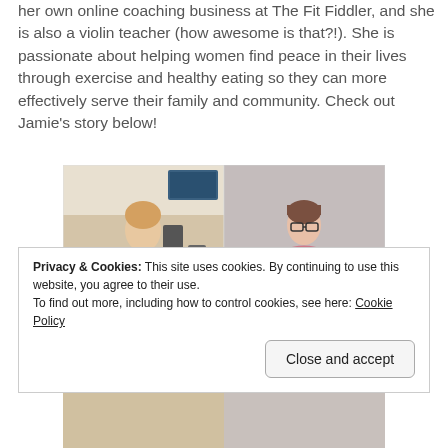her own online coaching business at The Fit Fiddler, and she is also a violin teacher (how awesome is that?!). She is passionate about helping women find peace in their lives through exercise and healthy eating so they can more effectively serve their family and community. Check out Jamie's story below!
[Figure (photo): Two side-by-side mirror selfie photos of a woman showing fitness transformation. Left photo shows a slim woman in a gray tank top in a gym. Right photo shows the same or similar woman in a pink tank top with glasses.]
Privacy & Cookies: This site uses cookies. By continuing to use this website, you agree to their use.
To find out more, including how to control cookies, see here: Cookie Policy
Close and accept